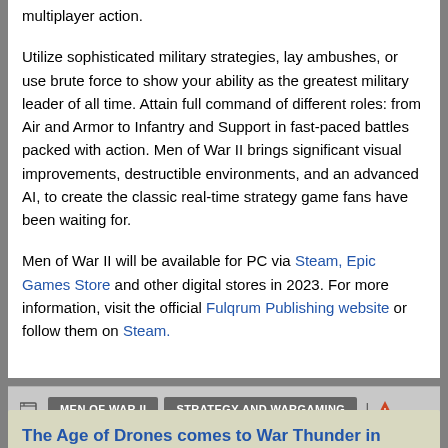multiplayer action.
Utilize sophisticated military strategies, lay ambushes, or use brute force to show your ability as the greatest military leader of all time. Attain full command of different roles: from Air and Armor to Infantry and Support in fast-paced battles packed with action. Men of War II brings significant visual improvements, destructible environments, and an advanced AI, to create the classic real-time strategy game fans have been waiting for.
Men of War II will be available for PC via Steam, Epic Games Store and other digital stores in 2023. For more information, visit the official Fulqrum Publishing website or follow them on Steam.
MEN OF WAR II
STRATEGY AND WARGAMING
Donster | September 1, 2022 |
The Age of Drones comes to War Thunder in September